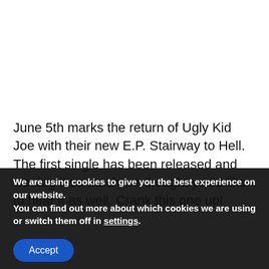June 5th marks the return of Ugly Kid Joe with their new E.P. Stairway to Hell. The first single has been released and we dug it so much we thought you'd like to hear it as well. Crank this one up!
We are using cookies to give you the best experience on our website.
You can find out more about which cookies we are using or switch them off in settings.
Accept